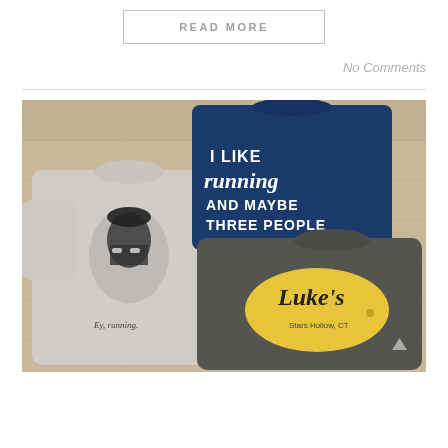READ MORE
No Comments
[Figure (photo): Flat lay photo of three clothing items on a wooden floor: a grey sweatshirt with a face graphic and text 'Ey, running', a navy blue t-shirt with text 'I LIKE running AND MAYBE THREE PEOPLE', and a dark grey sweatshirt with a yellow Luke's Diner 'Stars Hollow, CT' logo.]